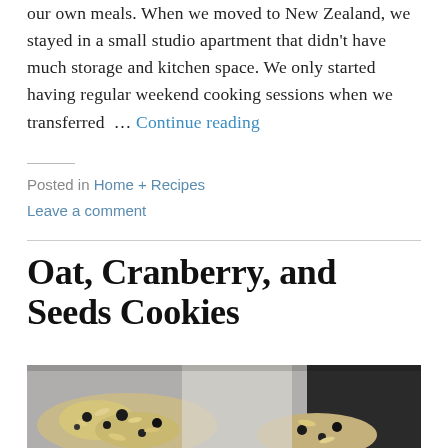our own meals. When we moved to New Zealand, we stayed in a small studio apartment that didn't have much storage and kitchen space. We only started having regular weekend cooking sessions when we transferred … Continue reading
Posted in Home + Recipes
Leave a comment
Oat, Cranberry, and Seeds Cookies
[Figure (photo): Close-up photo of oat, cranberry and seeds cookies on a baking tray, showing textured oat clusters with dark cranberries and seeds.]